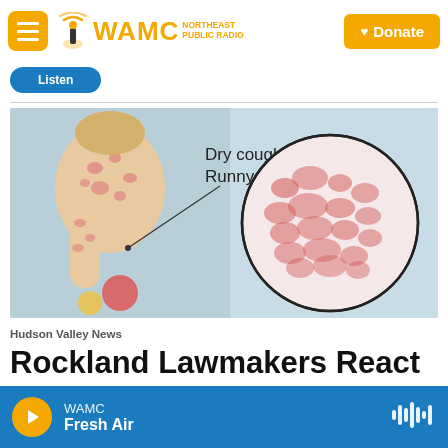WAMC NORTHEAST PUBLIC RADIO — Donate
[Figure (illustration): Medical illustration showing a child with measles rash on back and arm, with a magnified circular inset showing close-up of red blotchy rash. Text labels read 'Dry cough' and 'Runny nose'.]
Hudson Valley News
Rockland Lawmakers React To
WAMC Fresh Air